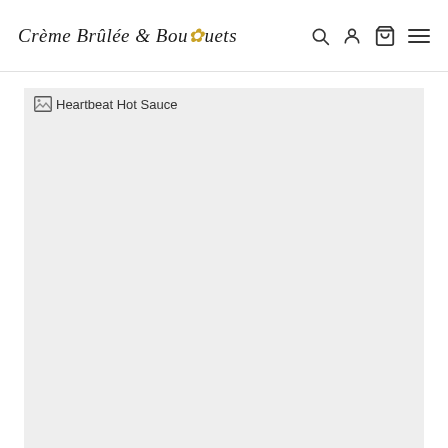Crème Brûlée & Bouquets
[Figure (screenshot): Broken product image placeholder labeled 'Heartbeat Hot Sauce' on a light gray background]